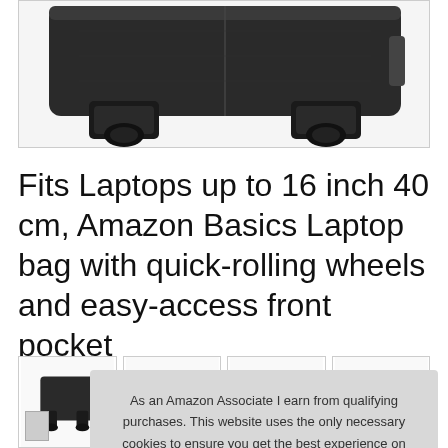[Figure (photo): Bottom view of a black rolling laptop bag showing wheels and base, partial crop of product photo]
Fits Laptops up to 16 inch 40 cm, Amazon Basics Laptop bag with quick-rolling wheels and easy-access front pocket
[Figure (photo): Row of four product thumbnail images showing different views of the laptop bag, partially visible]
As an Amazon Associate I earn from qualifying purchases. This website uses the only necessary cookies to ensure you get the best experience on our website. More information